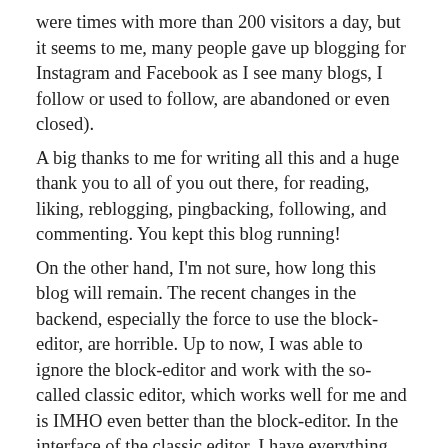were times with more than 200 visitors a day, but it seems to me, many people gave up blogging for Instagram and Facebook as I see many blogs, I follow or used to follow, are abandoned or even closed).
A big thanks to me for writing all this and a huge thank you to all of you out there, for reading, liking, reblogging, pingbacking, following, and commenting. You kept this blog running!
On the other hand, I'm not sure, how long this blog will remain. The recent changes in the backend, especially the force to use the block-editor, are horrible. Up to now, I was able to ignore the block-editor and work with the so-called classic editor, which works well for me and is IMHO even better than the block-editor. In the interface of the classic editor, I have everything right at hand. The interface is very well designed and fast. The block editor as well as the recent admin interface are ugly and slow. The block-editor f